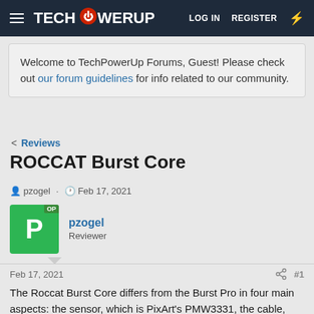TechPowerUp | LOG IN | REGISTER
Welcome to TechPowerUp Forums, Guest! Please check out our forum guidelines for info related to our community.
< Reviews
ROCCAT Burst Core
pzogel · Feb 17, 2021
pzogel
Reviewer
Feb 17, 2021 #1
The Roccat Burst Core differs from the Burst Pro in four main aspects: the sensor, which is PixArt's PMW3331, the cable, which is stiffer and rubber, the RGB lighting, which only includes the scroll wheel, and the price, which is just $29.99.